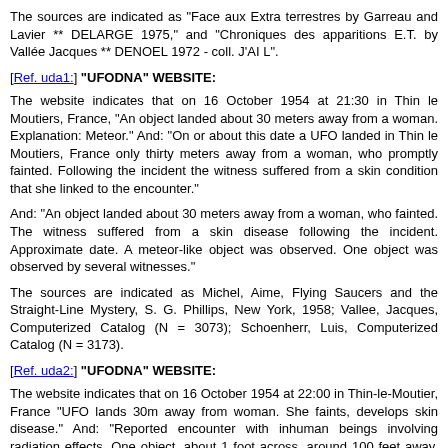The sources are indicated as "Face aux Extra terrestres by Garreau and Lavier ** DELARGE 1975," and "Chroniques des apparitions E.T. by Vallée Jacques ** DENOEL 1972 - coll. J'AI L".
[Ref. uda1:] "UFODNA" WEBSITE:
The website indicates that on 16 October 1954 at 21:30 in Thin le Moutiers, France, "An object landed about 30 meters away from a woman. Explanation: Meteor." And: "On or about this date a UFO landed in Thin le Moutiers, France only thirty meters away from a woman, who promptly fainted. Following the incident the witness suffered from a skin condition that she linked to the encounter."
And: "An object landed about 30 meters away from a woman, who fainted. The witness suffered from a skin disease following the incident. Approximate date. A meteor-like object was observed. One object was observed by several witnesses."
The sources are indicated as Michel, Aime, Flying Saucers and the Straight-Line Mystery, S. G. Phillips, New York, 1958; Vallee, Jacques, Computerized Catalog (N = 3073); Schoenherr, Luis, Computerized Catalog (N = 3173).
[Ref. uda2:] "UFODNA" WEBSITE:
The website indicates that on 16 October 1954 at 22:00 in Thin-le-Moutier, France "UFO lands 30m away from woman. She faints, develops skin disease." And: "Reported encounter with inhuman beings involving radiation effects. One object, about 1 foot across, around 100 feet away, was observed by one female witness, an experienced observor, in a forest for over six minutes."
The sources are indicated as Sparks, Brad, Computer Catalog of Type 9 Cases (N=150); Bowen, Charles, The Humanoids: FSR Special Edition No. 1, FSR London, 1966; Vallee, Jacques, Computerized Catalog (N = 3073); Vallee